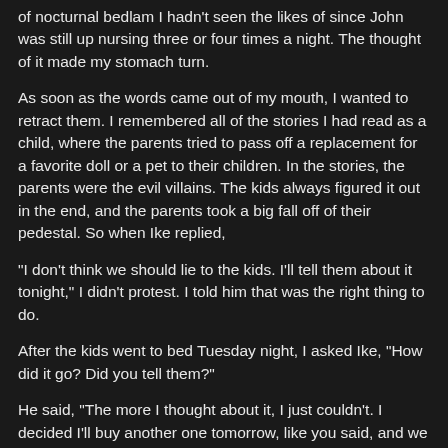of nocturnal bedlam I hadn't seen the likes of since John was still up nursing three or four times a night. The thought of it made my stomach turn.
As soon as the words came out of my mouth, I wanted to retract them. I remembered all of the stories I had read as a child, where the parents tried to pass off a replacement for a favorite doll or a pet to their children. In the stories, the parents were the evil villains. The kids always figured it out in the end, and the parents took a big fall off of their pedestal. So when Ike replied,
"I don't think we should lie to the kids. I'll tell them about it tonight," I didn't protest. I told him that was the right thing to do.
After the kids went to bed Tuesday night, I asked Ike, "How did it go? Did you tell them?"
He said, "The more I thought about it, I just couldn't. I decided I'll buy another one tomorrow, like you said, and we can just see what happens."